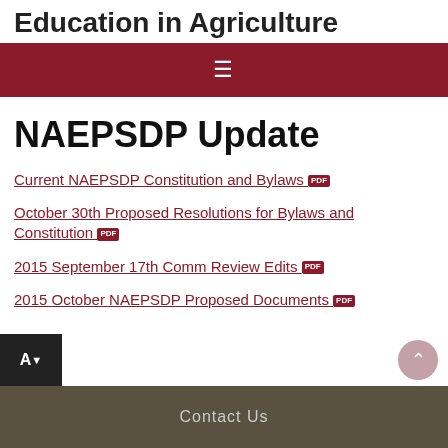Education in Agriculture
[Figure (other): Dark red navigation bar with hamburger menu icon]
NAEPSDP Update
Current NAEPSDP Constitution and Bylaws [PDF]
October 30th Proposed Resolutions for Bylaws and Constitution [PDF]
2015 September 17th Comm Review Edits [PDF]
2015 October NAEPSDP Proposed Documents [PDF]
Contact Us